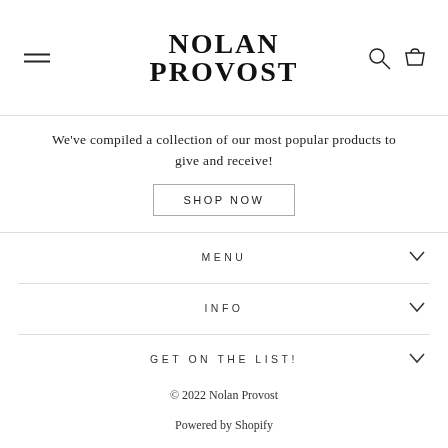NOLAN PROVOST
We've compiled a collection of our most popular products to give and receive!
SHOP NOW
MENU
INFO
GET ON THE LIST!
© 2022 Nolan Provost
Powered by Shopify